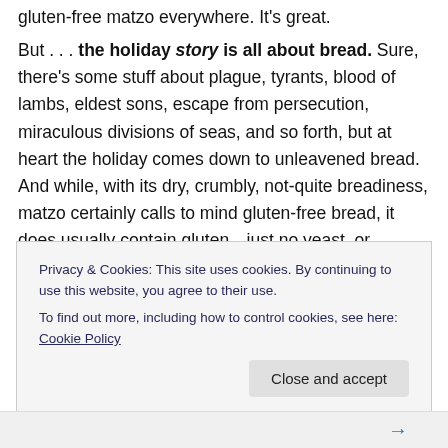gluten-free matzo everywhere. It's great.
But . . . the holiday story is all about bread. Sure, there's some stuff about plague, tyrants, blood of lambs, eldest sons, escape from persecution, miraculous divisions of seas, and so forth, but at heart the holiday comes down to unleavened bread. And while, with its dry, crumbly, not-quite breadiness, matzo certainly calls to mind gluten-free bread, it does usually contain gluten—just no yeast, or enough time for gluten to do its thing (since, in the story, there was no time to wait for bread to rise before fleeing Egypt)
Privacy & Cookies: This site uses cookies. By continuing to use this website, you agree to their use. To find out more, including how to control cookies, see here: Cookie Policy